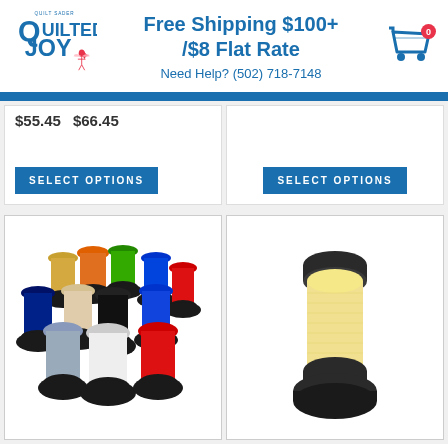Quilted Joy - Free Shipping $100+ /$8 Flat Rate | Need Help? (502) 718-7148
$55.45  $66.45
SELECT OPTIONS
SELECT OPTIONS
[Figure (photo): Multiple colorful thread spools arranged in a group]
[Figure (photo): Single large yellow/cream colored thread spool]